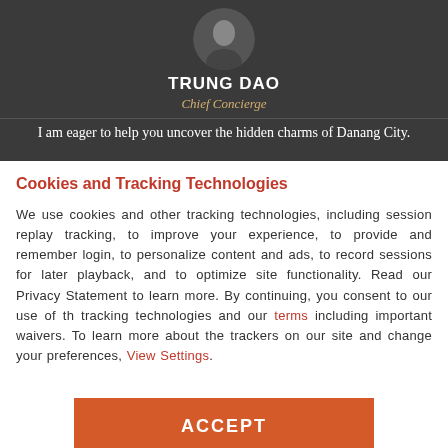[Figure (photo): Profile photo of Trung Dao, a person in dark clothing with arms crossed, shown from chest up]
TRUNG DAO
Chief Concierge
I am eager to help you uncover the hidden charms of Danang City.
Cookies and Tracking Technologies
We use cookies and other tracking technologies, including session replay tracking, to improve your experience, to provide and remember login, to personalize content and ads, to record sessions for later playback, and to optimize site functionality. Read our Privacy Statement to learn more. By continuing, you consent to our use of the tracking technologies and our terms including important waivers. To learn more about the trackers on our site and change your preferences, View Settings.
ACCEPT
BOOK NOW